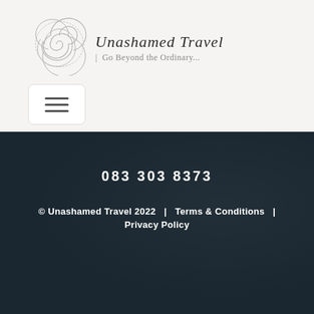[Figure (logo): Unashamed Travel logo with spiral graphic, brand name in italic serif and tagline 'Go Beyond the Ordinary...']
[Figure (other): Hamburger menu button (three horizontal lines) in a white rounded rectangle]
083 303 8373
© Unashamed Travel 2022  |  Terms & Conditions  |  Privacy Policy